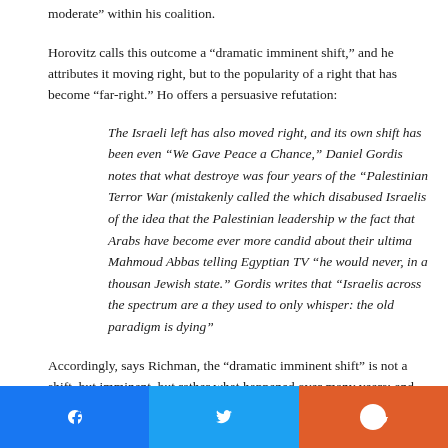moderate” within his coalition.
Horovitz calls this outcome a “dramatic imminent shift,” and he attributes it moving right, but to the popularity of a right that has become “far-right.” Ho offers a persuasive refutation:
The Israeli left has also moved right, and its own shift has been even “We Gave Peace a Chance,” Daniel Gordis notes that what destroye was four years of the “Palestinian Terror War (mistakenly called the which disabused Israelis of the idea that the Palestinian leadership w the fact that Arabs have become ever more candid about their ultima Mahmoud Abbas telling Egyptian TV “he would never, in a thousand Jewish state.” Gordis writes that “Israelis across the spectrum are a they used to only whisper: the old paradigm is dying”
Accordingly, says Richman, the “dramatic imminent shift” is not a shift, but imminent, but rather what happened over many years; and not dramatic, but accumulation of many events: